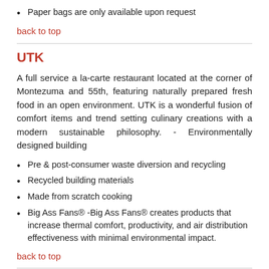Paper bags are only available upon request
back to top
UTK
A full service a la-carte restaurant located at the corner of Montezuma and 55th, featuring naturally prepared fresh food in an open environment. UTK is a wonderful fusion of comfort items and trend setting culinary creations with a modern sustainable philosophy. - Environmentally designed building
Pre & post-consumer waste diversion and recycling
Recycled building materials
Made from scratch cooking
Big Ass Fans® -Big Ass Fans® creates products that increase thermal comfort, productivity, and air distribution effectiveness with minimal environmental impact.
back to top